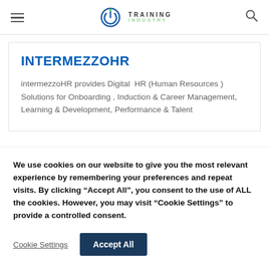TRAINING INDUSTRY
INTERMEZZOHR
intermezzoHR provides Digital  HR (Human Resources ) Solutions for Onboarding , Induction & Career Management, Learning & Development, Performance & Talent
We use cookies on our website to give you the most relevant experience by remembering your preferences and repeat visits. By clicking “Accept All”, you consent to the use of ALL the cookies. However, you may visit “Cookie Settings” to provide a controlled consent.